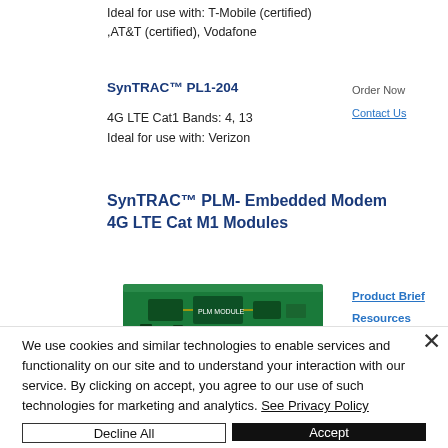Ideal for use with: T-Mobile (certified)
,AT&T (certified), Vodafone
SynTRAC™ PL1-204
Order Now
Contact Us
4G LTE Cat1 Bands: 4, 13
Ideal for use with: Verizon
SynTRAC™ PLM- Embedded Modem 4G LTE Cat M1 Modules
Product Brief
Resources
[Figure (photo): Green circuit board / embedded modem module photographed at an angle]
We use cookies and similar technologies to enable services and functionality on our site and to understand your interaction with our service. By clicking on accept, you agree to our use of such technologies for marketing and analytics. See Privacy Policy
Decline All
Accept
Cookie Settings